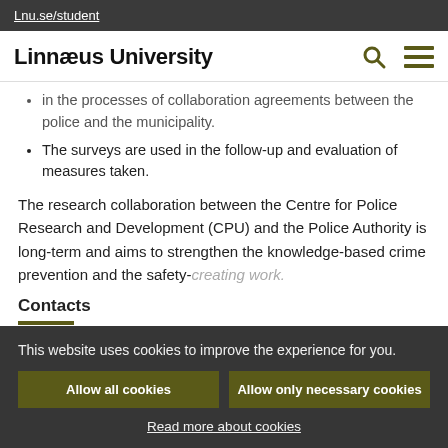Lnu.se/student
Linnæus University
in the processes of collaboration agreements between the police and the municipality.
The surveys are used in the follow-up and evaluation of measures taken.
The research collaboration between the Centre for Police Research and Development (CPU) and the Police Authority is long-term and aims to strengthen the knowledge-based crime prevention and the safety-creating work.
This website uses cookies to improve the experience for you.
Allow all cookies
Allow only necessary cookies
Read more about cookies
Contacts